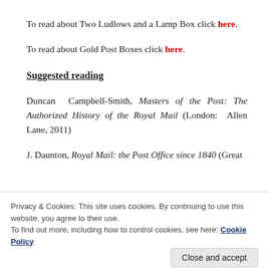To read about Two Ludlows and a Lamp Box click here.
To read about Gold Post Boxes click here.
Suggested reading
Duncan Campbell-Smith, Masters of the Post: The Authorized History of the Royal Mail (London: Allen Lane, 2011)
J. Daunton, Royal Mail: the Post Office since 1840 (Great
Privacy & Cookies: This site uses cookies. By continuing to use this website, you agree to their use.
To find out more, including how to control cookies, see here: Cookie Policy
Close and accept